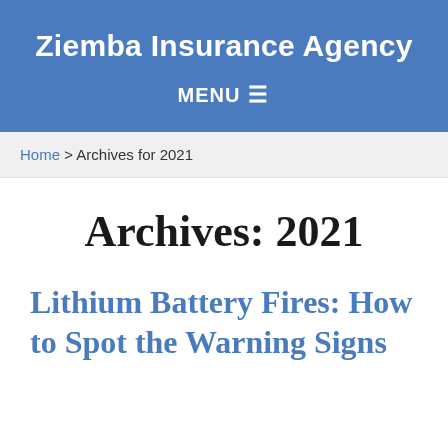Ziemba Insurance Agency
MENU ≡
Home > Archives for 2021
Archives: 2021
Lithium Battery Fires: How to Spot the Warning Signs